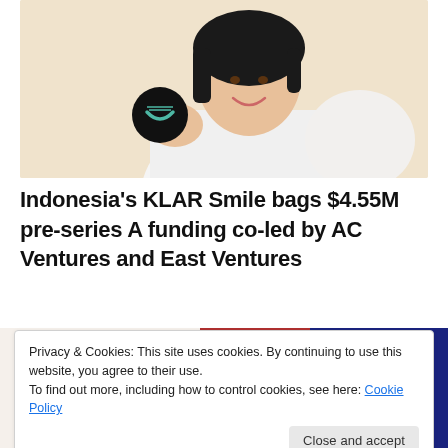[Figure (photo): A smiling woman in a white blazer holding a round black compact (KLAR Smile product) with a teal smile logo, against a beige background]
Indonesia's KLAR Smile bags $4.55M pre-series A funding co-led by AC Ventures and East Ventures
[Figure (photo): Partial second image showing colorful product or lifestyle photo, partially obscured by cookie banner]
Privacy & Cookies: This site uses cookies. By continuing to use this website, you agree to their use.
To find out more, including how to control cookies, see here: Cookie Policy